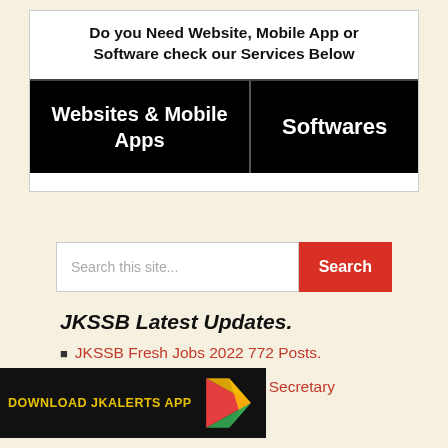[Figure (infographic): Black advertisement banner with two sections: 'Websites & Mobile Apps' on the left and 'Softwares' on the right, with heading 'Do you Need Website, Mobile App or Software check our Services Below']
Search this site...
JKSSB Latest Updates.
JKSSB Fresh Jobs 2022 772 Posts.
JKSSB Syllabus Panchayat Secretary VLW.